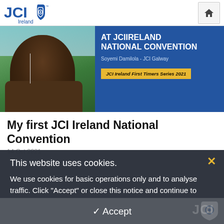JCI Ireland
[Figure (photo): Hero banner showing a man with earphones outdoors, overlaid with text 'AT JCI IRELAND NATIONAL CONVENTION', 'Soyemi Damilola - JCI Galway', and 'JCI Ireland First Timers Series 2021' on a blue background with a gold badge]
My first JCI Ireland National Convention
14 Oct 2021
This website uses cookies.
We use cookies for basic operations only and to analyse traffic. Click "Accept" or close this notice and continue to browse our site, without changing your cookie settings.
✓ Accept